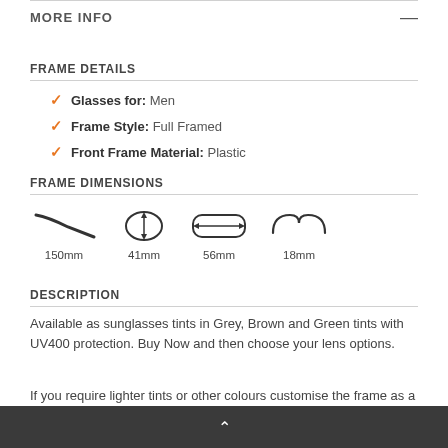MORE INFO
FRAME DETAILS
Glasses for: Men
Frame Style: Full Framed
Front Frame Material: Plastic
FRAME DIMENSIONS
[Figure (illustration): Frame dimension icons showing temple length 150mm, lens height 41mm, lens width 56mm, bridge width 18mm]
DESCRIPTION
Available as sunglasses tints in Grey, Brown and Green tints with UV400 protection. Buy Now and then choose your lens options.
If you require lighter tints or other colours customise the frame as a
^